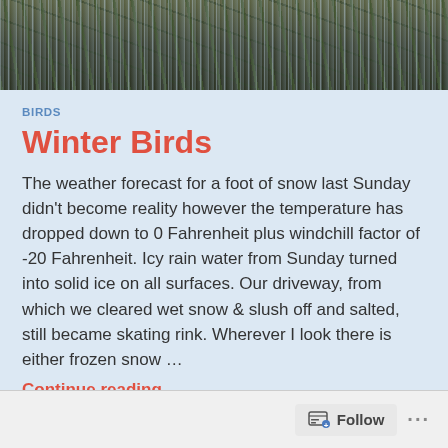[Figure (photo): Icy winter branches covered in ice/frozen rain, close-up nature photo]
BIRDS
Winter Birds
The weather forecast for a foot of snow last Sunday didn't become reality however the temperature has dropped down to 0 Fahrenheit plus windchill factor of -20 Fahrenheit. Icy rain water from Sunday turned into solid ice on all surfaces. Our driveway, from which we cleared wet snow & slush off and salted, still became skating rink. Wherever I look there is either frozen snow …
Continue reading
JANUARY 21, 2019 / 6 COMMENTS